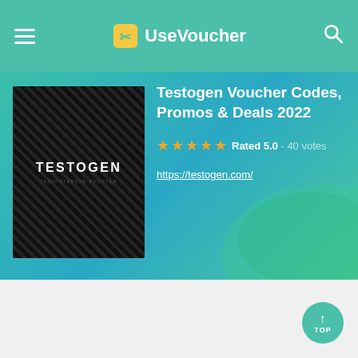UseVoucher
[Figure (screenshot): Testogen product image - black textured background with TESTOGEN text]
Testogen Voucher Codes, Promos & Deals 2022
Rated 5.0 - 40 votes
https://testogen.com/